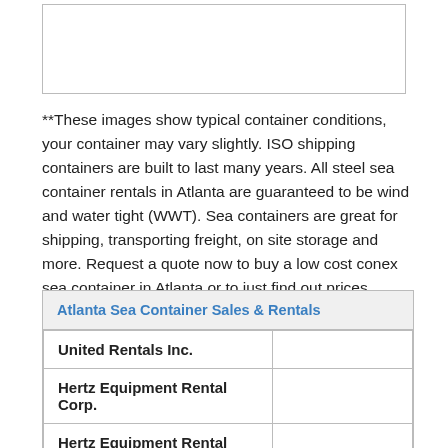[Figure (other): Empty image placeholder box showing typical container conditions]
**These images show typical container conditions, your container may vary slightly. ISO shipping containers are built to last many years. All steel sea container rentals in Atlanta are guaranteed to be wind and water tight (WWT). Sea containers are great for shipping, transporting freight, on site storage and more. Request a quote now to buy a low cost conex sea container in Atlanta or to just find out prices.
| Atlanta Sea Container Sales & Rentals |  |
| --- | --- |
| United Rentals Inc. |  |
| Hertz Equipment Rental Corp. |  |
| Hertz Equipment Rental Corp. |  |